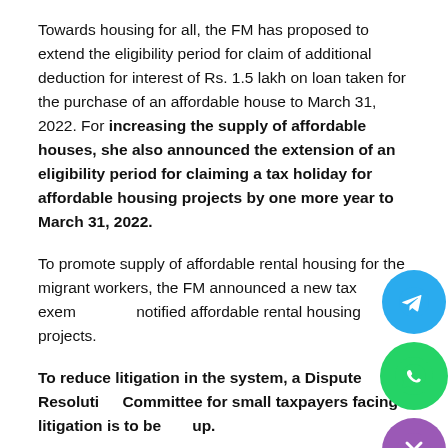Towards housing for all, the FM has proposed to extend the eligibility period for claim of additional deduction for interest of Rs. 1.5 lakh on loan taken for the purchase of an affordable house to March 31, 2022. For increasing the supply of affordable houses, she also announced the extension of an eligibility period for claiming a tax holiday for affordable housing projects by one more year to March 31, 2022.
To promote supply of affordable rental housing for the migrant workers, the FM announced a new tax exemption for notified affordable rental housing projects.
To reduce litigation in the system, a Dispute Resolution Committee for small taxpayers facing litigation is to be set up.
Anyone with a taxable income up to Rs. 50 lakh and disputed